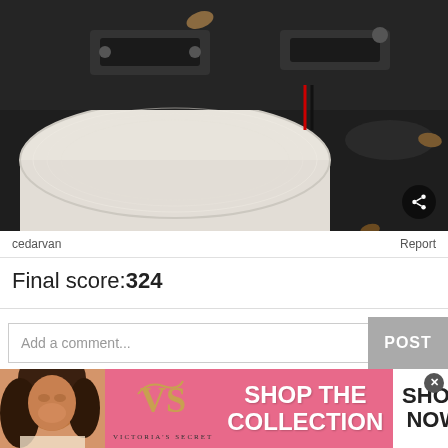[Figure (photo): Photo of the interior of a speaker or audio equipment showing a large white cone/roll (resembling toilet paper), black housing with bolts and hardware, a label reading 'T1', and a black cylindrical component on the right side.]
cedarvan
Report
Final score:324
Add a comment...
POST
[Figure (photo): Victoria's Secret advertisement banner with pink background. Shows a model on the left, the VS logo in the center, text 'SHOP THE COLLECTION' in white bold letters, and a white button reading 'SHOP NOW'. Close/x button in top right corner.]